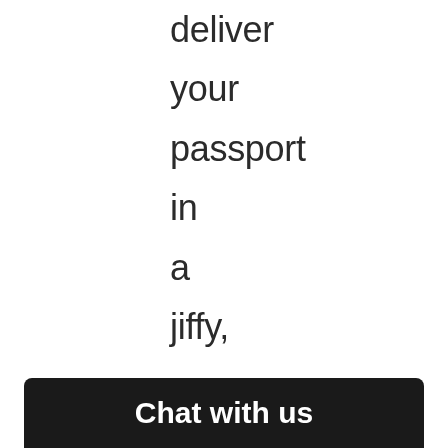deliver your passport in a jiffy, say 24 hours. Instant Passport, for one, lists turnaround times.
Chat with us